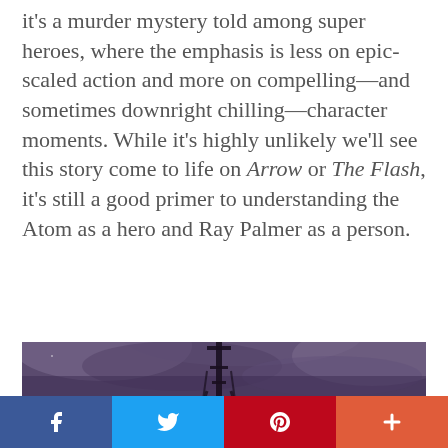it's a murder mystery told among super heroes, where the emphasis is less on epic-scaled action and more on compelling—and sometimes downright chilling—character moments. While it's highly unlikely we'll see this story come to life on Arrow or The Flash, it's still a good primer to understanding the Atom as a hero and Ray Palmer as a person.
[Figure (photo): Dark atmospheric image showing a tower or spire silhouette against a purple-gray cloudy night sky]